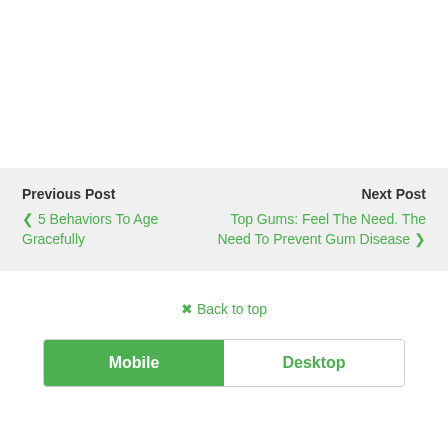Previous Post
< 5 Behaviors To Age Gracefully
Next Post
Top Gums: Feel The Need. The Need To Prevent Gum Disease >
^ Back to top
Mobile | Desktop